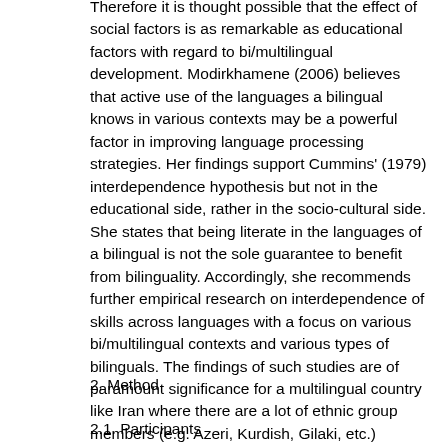Therefore it is thought possible that the effect of social factors is as remarkable as educational factors with regard to bi/multilingual development. Modirkhamene (2006) believes that active use of the languages a bilingual knows in various contexts may be a powerful factor in improving language processing strategies. Her findings support Cummins' (1979) interdependence hypothesis but not in the educational side, rather in the socio-cultural side. She states that being literate in the languages of a bilingual is not the sole guarantee to benefit from bilinguality. Accordingly, she recommends further empirical research on interdependence of skills across languages with a focus on various bi/multilingual contexts and various types of bilinguals. The findings of such studies are of paramount significance for a multilingual country like Iran where there are a lot of ethnic group members (e.g. Azeri, Kurdish, Gilaki, etc.) involved in learning English as an L3, whereas their rich linguistic background is overestimated.
2. Method
2.1. Participants